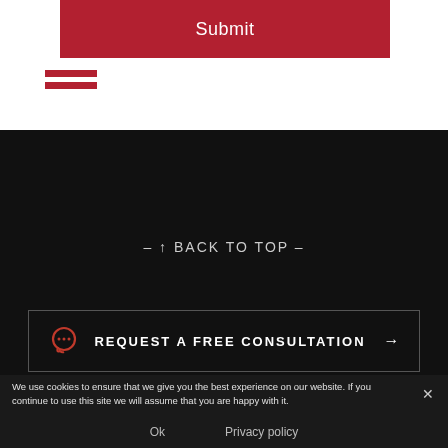Submit
– ↑ BACK TO TOP –
REQUEST A FREE CONSULTATION →
We use cookies to ensure that we give you the best experience on our website. If you continue to use this site we will assume that you are happy with it.
Ok
Privacy policy